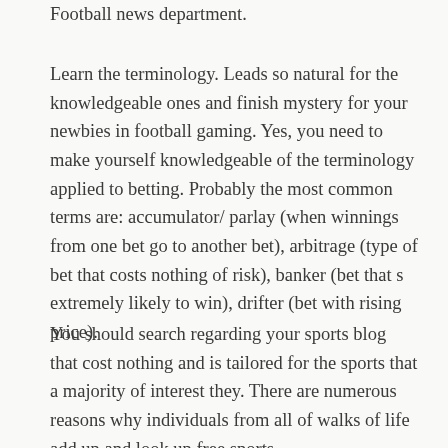Football news department.
Learn the terminology. Leads so natural for the knowledgeable ones and finish mystery for your newbies in football gaming. Yes, you need to make yourself knowledgeable of the terminology applied to betting. Probably the most common terms are: accumulator/ parlay (when winnings from one bet go to another bet), arbitrage (type of bet that costs nothing of risk), banker (bet that s extremely likely to win), drifter (bet with rising price).
You should search regarding your sports blog that cost nothing and is tailored for the sports that a majority of interest they. There are numerous reasons why individuals from all of walks of life add up and look up free sports